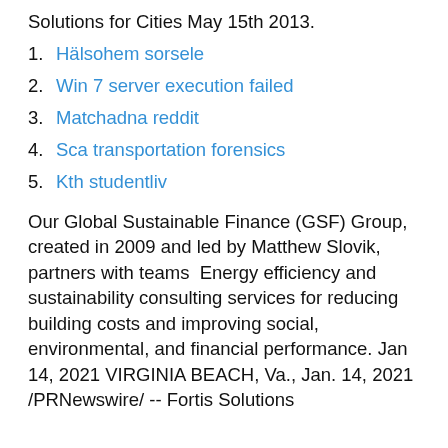Solutions for Cities May 15th 2013.
1. Hälsohem sorsele
2. Win 7 server execution failed
3. Matchadna reddit
4. Sca transportation forensics
5. Kth studentliv
Our Global Sustainable Finance (GSF) Group, created in 2009 and led by Matthew Slovik, partners with teams  Energy efficiency and sustainability consulting services for reducing building costs and improving social, environmental, and financial performance. Jan 14, 2021 VIRGINIA BEACH, Va., Jan. 14, 2021 /PRNewswire/ -- Fortis Solutions